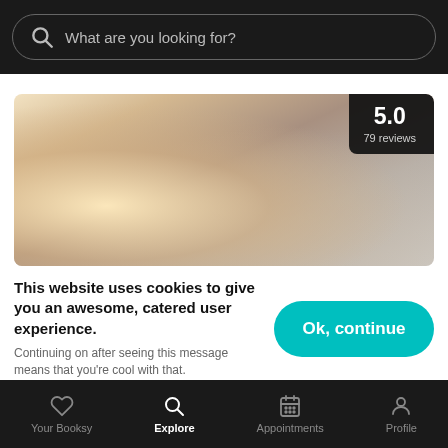What are you looking for?
[Figure (photo): Spa/massage scene: person lying down receiving facial treatment, warm sepia-toned lighting, with a rating badge showing 5.0 and 79 reviews in top-right corner]
This website uses cookies to give you an awesome, catered user experience. Continuing on after seeing this message means that you're cool with that.
Ok, continue
Your Booksy   Explore   Appointments   Profile